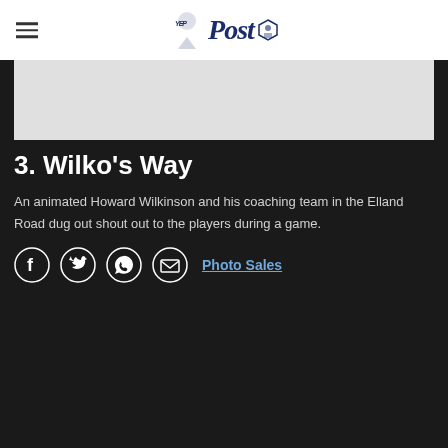Yorkshire Evening Post
[Figure (photo): Photograph placeholder (grey box) showing image content]
3. Wilko's Way
An animated Howard Wilkinson and his coaching team in the Elland Road dug out shout out to the players during a game.
[Figure (infographic): Social share icons: Facebook, Twitter, WhatsApp, Email, and Photo Sales link]